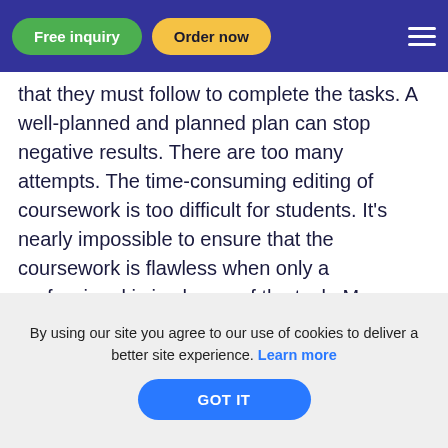Free inquiry | Order now
that they must follow to complete the tasks. A well-planned and planned plan can stop negative results. There are too many attempts. The time-consuming editing of coursework is too difficult for students. It's nearly impossible to ensure that the coursework is flawless when only a professional is in charge of the task. Many students quit when they are unable to achieve the desired outcome. There is a shortage of materials. A lack of time or a clear knowledge of the subject typically leads to wrong research and using not inappropriate sources required for the coursework. Experts know where to look and what is expected. Therefore, the coursework will be well-organized and based only on the
By using our site you agree to our use of cookies to deliver a better site experience. Learn more
GOT IT